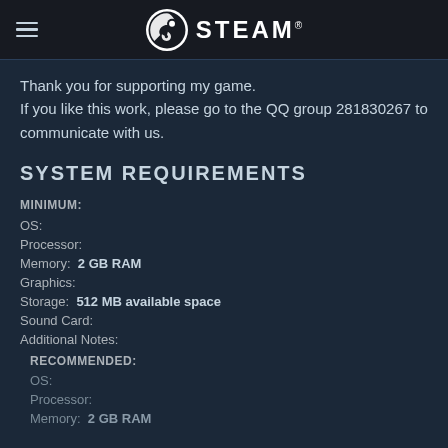STEAM
Thank you for supporting my game.
If you like this work, please go to the QQ group 281830267 to communicate with us.
SYSTEM REQUIREMENTS
MINIMUM:
OS:
Processor:
Memory:  2 GB RAM
Graphics:
Storage:  512 MB available space
Sound Card:
Additional Notes:
RECOMMENDED:
OS:
Processor:
Memory:  2 GB RAM